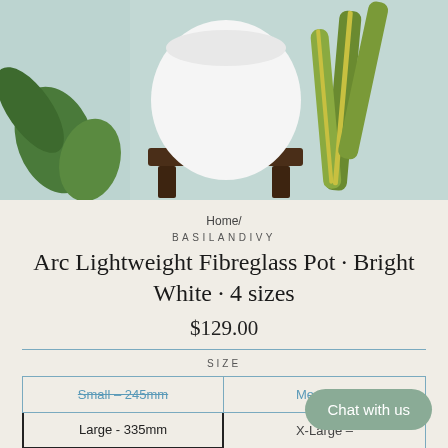[Figure (photo): Photo of a white round fibreglass pot on a dark wooden stand, surrounded by green snake plants and other foliage against a light teal wall.]
Home/
BASILANDIVY
Arc Lightweight Fibreglass Pot · Bright White · 4 sizes
$129.00
SIZE
Small – 245mm
Medium –
Large - 335mm
X-Large –
Chat with us